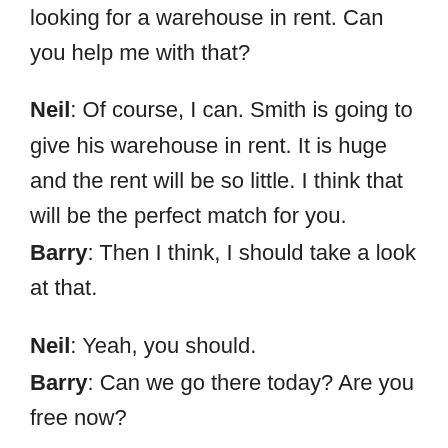looking for a warehouse in rent. Can you help me with that?
Neil: Of course, I can. Smith is going to give his warehouse in rent. It is huge and the rent will be so little. I think that will be the perfect match for you.
Barry: Then I think, I should take a look at that.
Neil: Yeah, you should.
Barry: Can we go there today? Are you free now?
Neil: Yeah, I am free. Let's go.
Barry: Thanks Neil, for helping me out.